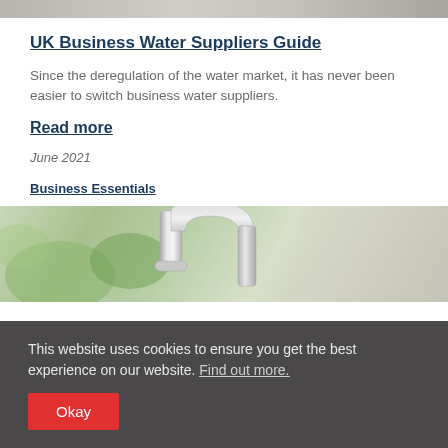[Figure (photo): Partial top image strip showing office/business scene]
UK Business Water Suppliers Guide
Since the deregulation of the water market, it has never been easier to switch business water suppliers.
Read more
June 2021
Business Essentials
[Figure (photo): Close-up photo of a chrome kitchen/bathroom tap with green plants in background]
This website uses cookies to ensure you get the best experience on our website. Find out more.